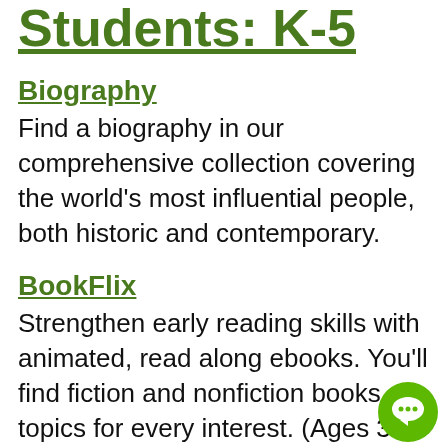Students: K-5
Biography
Find a biography in our comprehensive collection covering the world's most influential people, both historic and contemporary.
BookFlix
Strengthen early reading skills with animated, read along ebooks. You'll find fiction and nonfiction books on topics for every interest. (Ages 3-